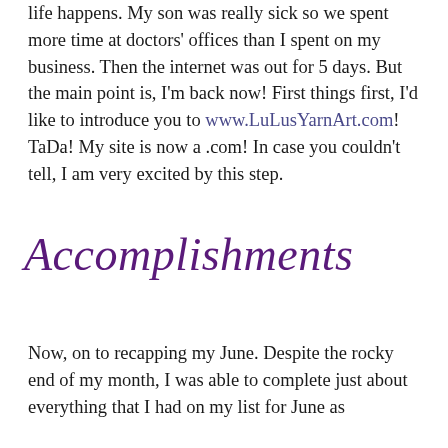life happens. My son was really sick so we spent more time at doctors' offices than I spent on my business. Then the internet was out for 5 days. But the main point is, I'm back now! First things first, I'd like to introduce you to www.LuLusYarnArt.com! TaDa! My site is now a .com! In case you couldn't tell, I am very excited by this step.
Accomplishments
Now, on to recapping my June. Despite the rocky end of my month, I was able to complete just about everything that I had on my list for June as